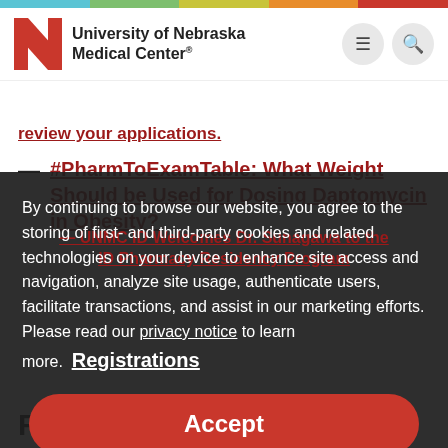University of Nebraska Medical Center
review your applications.
#PharmToExamTable: What Weight Should be Used for Dosing Daptomycin in Obesity?
By continuing to browse our website, you agree to the storing of first- and third-party cookies and related technologies on your device to enhance site access and navigation, analyze site usage, authenticate users, facilitate transactions, and assist in our marketing efforts. Please read our privacy notice to learn more.
— UNMC ID Welcomes Dr. Sunagawa to the ID Pharmacy Residency Program
Registrations
Accept
Recent Comments